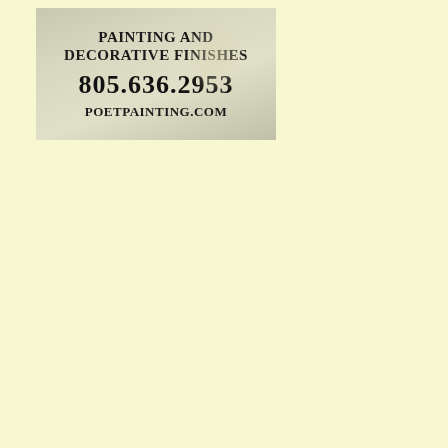[Figure (photo): A photograph of a painted sign or business card reading 'PAINTING AND DECORATIVE FINISHES', phone number '805.636.2953', and website 'POETPAINTING.COM', on a textured off-white/cream painted surface background.]